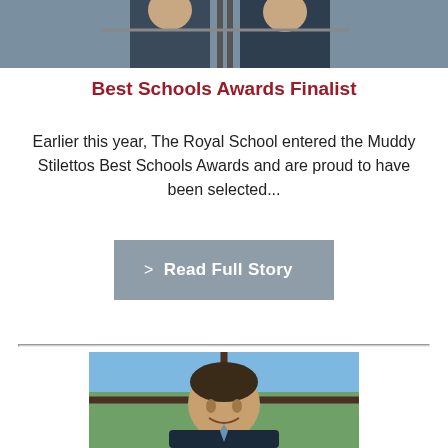[Figure (photo): Partial top image of two people, cropped at top of page]
Best Schools Awards Finalist
Earlier this year, The Royal School entered the Muddy Stilettos Best Schools Awards and are proud to have been selected...
> Read Full Story
[Figure (photo): Portrait photo of a man in a suit and tie, smiling, seated near a window overlooking green grounds]